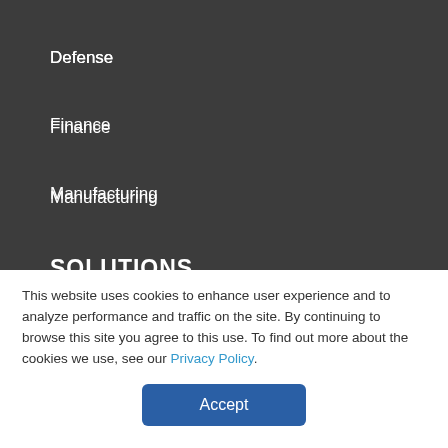Defense
Finance
Manufacturing
SOLUTIONS
Technology Strategy
Cloud
Virtualization
This website uses cookies to enhance user experience and to analyze performance and traffic on the site. By continuing to browse this site you agree to this use. To find out more about the cookies we use, see our Privacy Policy.
Accept